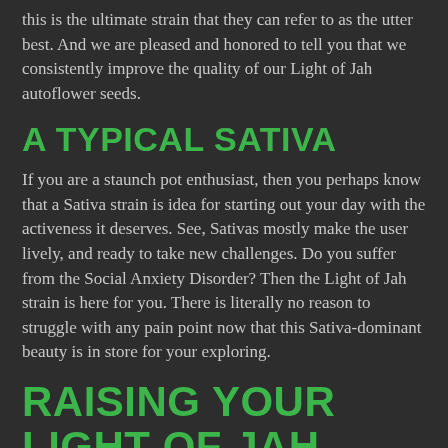this is the ultimate strain that they can refer to as the utter best. And we are pleased and honored to tell you that we consistently improve the quality of our Light of Jah autoflower seeds.
A TYPICAL SATIVA
If you are a staunch pot enthusiast, then you perhaps know that a Sativa strain is idea for starting out your day with the activeness it deserves. See, Sativas mostly make the user lively, and ready to take new challenges. Do you suffer from the Social Anxiety Disorder? Then the Light of Jah strain is here for you. There is literally no reason to struggle with any pain point now that this Sativa-dominant beauty is in store for your exploring.
RAISING YOUR LIGHT OF JAH AUTOFLOWER IS EASY